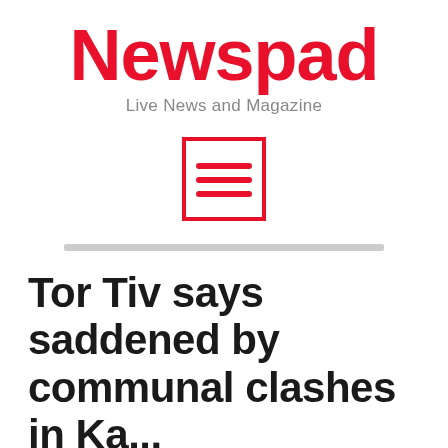Newspad
Live News and Magazine
[Figure (illustration): Hamburger menu icon: a red bordered square containing three horizontal red lines]
Tor Tiv says saddened by communal clashes in Ka...